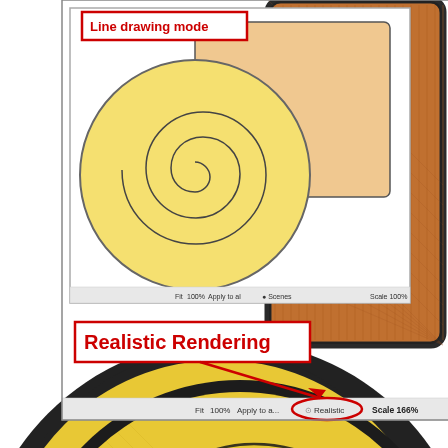[Figure (screenshot): Comparison of Line drawing mode vs Realistic Rendering in an embroidery/design software. The top-left inset shows a 'Line drawing mode' screenshot with a flat line-art view of a spiral coil shape and a rectangle, labeled with a red-bordered box. The main background shows the 'Realistic Rendering' mode with photorealistic textured embroidery of the same shapes (yellow circular coil and orange rectangle with dark borders). A red label box reads 'Realistic Rendering' with an arrow pointing to a bottom toolbar showing 'Fit | 100% | Apply to a... | Realistic' buttons with an ellipse drawn around 'Realistic'. Scale annotation reads 'Scale 166%'.]